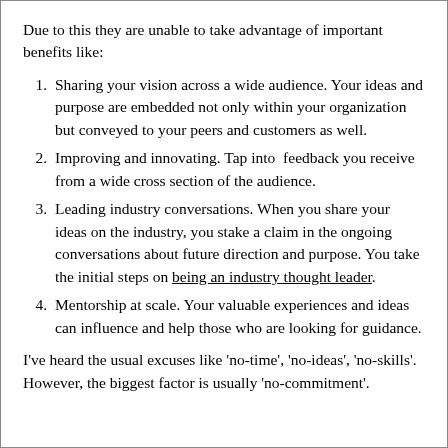Due to this they are unable to take advantage of important benefits like:
Sharing your vision across a wide audience. Your ideas and purpose are embedded not only within your organization but conveyed to your peers and customers as well.
Improving and innovating. Tap into  feedback you receive from a wide cross section of the audience.
Leading industry conversations. When you share your ideas on the industry, you stake a claim in the ongoing conversations about future direction and purpose. You take the initial steps on being an industry thought leader.
Mentorship at scale. Your valuable experiences and ideas can influence and help those who are looking for guidance.
I've heard the usual excuses like 'no-time', 'no-ideas', 'no-skills'. However, the biggest factor is usually 'no-commitment'.